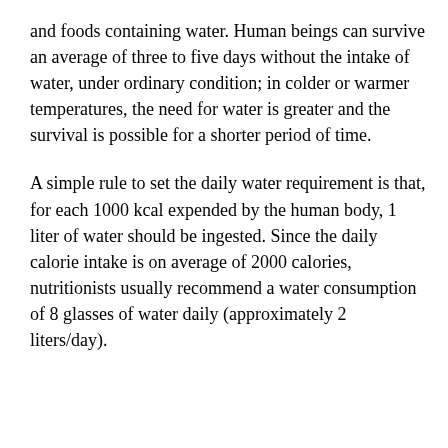and foods containing water. Human beings can survive an average of three to five days without the intake of water, under ordinary condition; in colder or warmer temperatures, the need for water is greater and the survival is possible for a shorter period of time.
A simple rule to set the daily water requirement is that, for each 1000 kcal expended by the human body, 1 liter of water should be ingested. Since the daily calorie intake is on average of 2000 calories, nutritionists usually recommend a water consumption of 8 glasses of water daily (approximately 2 liters/day).